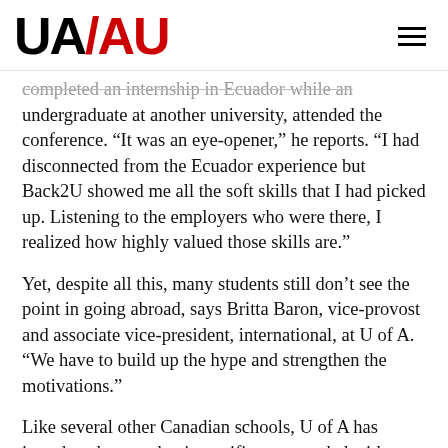UA/AU
completed an internship in Ecuador while an undergraduate at another university, attended the conference. “It was an eye-opener,” he reports. “I had disconnected from the Ecuador experience but Back2U showed me all the soft skills that I had picked up. Listening to the employers who were there, I realized how highly valued those skills are.”
Yet, despite all this, many students still don’t see the point in going abroad, says Britta Baron, vice-provost and associate vice-president, international, at U of A. “We have to build up the hype and strengthen the motivations.”
Like several other Canadian schools, U of A has introduced an academic certificate, awarded with